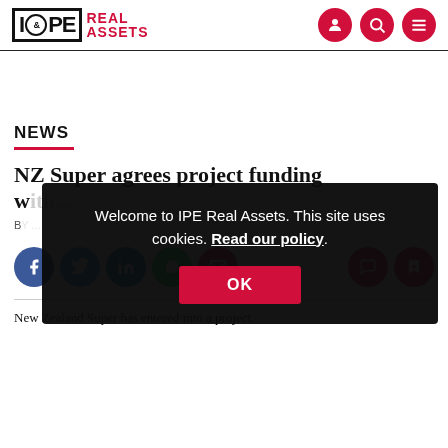IPE Real Assets
NEWS
NZ Super agrees project funding w...
BY ...
Welcome to IPE Real Assets. This site uses cookies. Read our policy.
New Zealand Super has entered into a project...